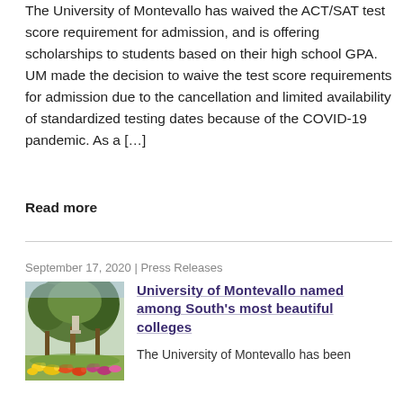The University of Montevallo has waived the ACT/SAT test score requirement for admission, and is offering scholarships to students based on their high school GPA. UM made the decision to waive the test score requirements for admission due to the cancellation and limited availability of standardized testing dates because of the COVID-19 pandemic. As a […]
Read more
September 17, 2020 | Press Releases
[Figure (photo): Outdoor campus photo showing trees, a statue, and colorful flowers in the foreground at University of Montevallo]
University of Montevallo named among South's most beautiful colleges
The University of Montevallo has been